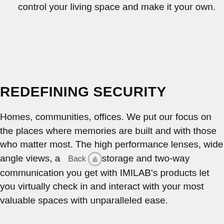control your living space and make it your own.
REDEFINING SECURITY
Homes, communities, offices. We put our focus on the places where memories are built and with those who matter most. The high performance lenses, wide angle views, a storage and two-way communication you get with IMILAB’s products let you virtually check in and interact with your most valuable spaces with unparalleled ease.